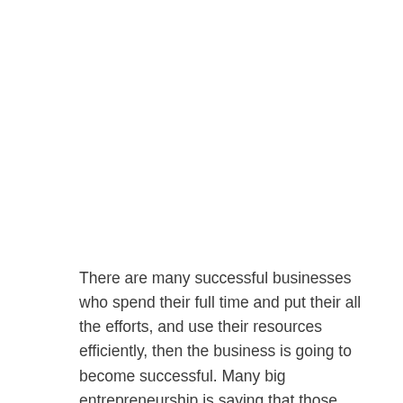There are many successful businesses who spend their full time and put their all the efforts, and use their resources efficiently, then the business is going to become successful. Many big entrepreneurship is saying that those businesses who start from small business, then there is high chance to become successful. But not all business is going to successful. Now a days every person wants to start